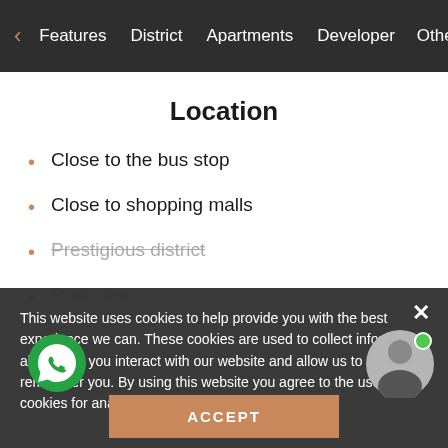< Features   District   Apartments   Developer   Othe >
Location
Close to the bus stop
Close to shopping malls
Prestigious district
This website uses cookies to help provide you with the best experience we can. These cookies are used to collect information about how you interact with our website and allow us to remember you. By using this website you agree to the use of cookies for analytics and personalized uses.
Park/garden view